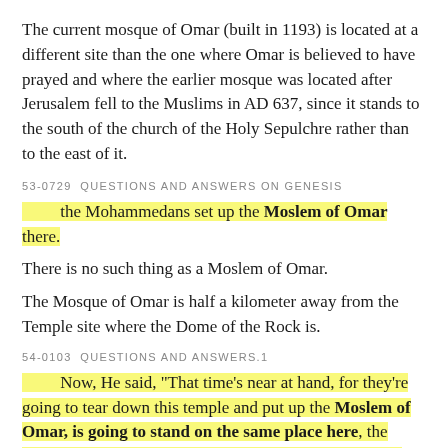The current mosque of Omar (built in 1193) is located at a different site than the one where Omar is believed to have prayed and where the earlier mosque was located after Jerusalem fell to the Muslims in AD 637, since it stands to the south of the church of the Holy Sepulchre rather than to the east of it.
53-0729  QUESTIONS AND ANSWERS ON GENESIS
the Mohammedans set up the Moslem of Omar there.
There is no such thing as a Moslem of Omar.
The Mosque of Omar is half a kilometer away from the Temple site where the Dome of the Rock is.
54-0103  QUESTIONS AND ANSWERS.1
Now, He said, "That time's near at hand, for they're going to tear down this temple and put up the Moslem of Omar, is going to stand on the same place here, the Mohammedans, Gentiles. And it's going to stand there."